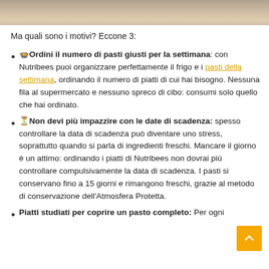[Figure (photo): Partial photo strip at top of page, showing a blurred scene with hands, papers or food items on a table.]
Ma quali sono i motivi? Eccone 3:
🍲 Ordini il numero di pasti giusti per la settimana: con Nutribees puoi organizzare perfettamente il frigo e i pasti della settimana, ordinando il numero di piatti di cui hai bisogno. Nessuna fila al supermercato e nessuno spreco di cibo: consumi solo quello che hai ordinato.
⏳ Non devi più impazzire con le date di scadenza: spesso controllare la data di scadenza può diventare uno stress, soprattutto quando si parla di ingredienti freschi. Mancare il giorno è un attimo: ordinando i piatti di Nutribees non dovrai più controllare compulsivamente la data di scadenza. I pasti si conservano fino a 15 giorni e rimangono freschi, grazie al metodo di conservazione dell'Atmosfera Protetta.
Piatti studiati per coprire un pasto completo: Per ogni